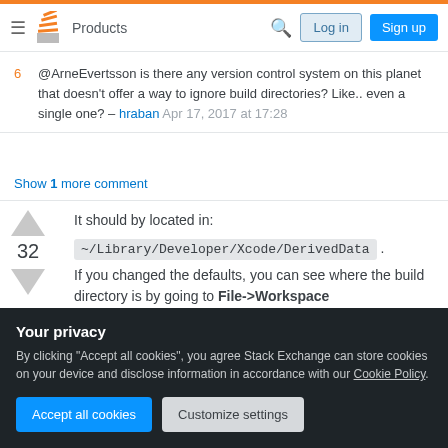Stack Overflow navigation bar with Products, Search, Log in, Sign up
6 @ArneEvertsson is there any version control system on this planet that doesn't offer a way to ignore build directories? Like.. even a single one? – hraban Apr 17, 2017 at 17:28
Show 1 more comment
It should by located in: ~/Library/Developer/Xcode/DerivedData .
If you changed the defaults, you can see where the build directory is by going to File->Workspace
Your privacy
By clicking "Accept all cookies", you agree Stack Exchange can store cookies on your device and disclose information in accordance with our Cookie Policy.
Accept all cookies  Customize settings